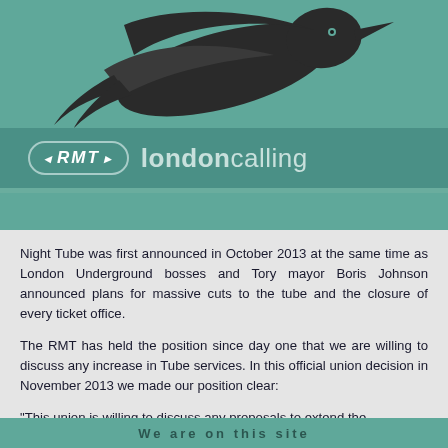[Figure (logo): RMT London Calling newsletter header with stylized bird graphic on teal background and RMT logo badge with 'londoncalling' text]
Night Tube was first announced in October 2013 at the same time as London Underground bosses and Tory mayor Boris Johnson announced plans for massive cuts to the tube and the closure of every ticket office.
The RMT has held the position since day one that we are willing to discuss any increase in Tube services. In this official union decision in November 2013 we made our position clear:
"This union is willing to discuss any proposals to extend the